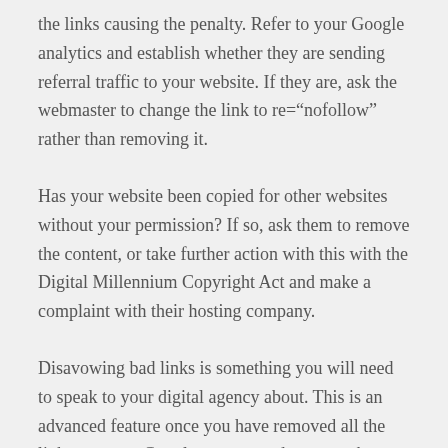the links causing the penalty. Refer to your Google analytics and establish whether they are sending referral traffic to your website. If they are, ask the webmaster to change the link to re="nofollow" rather than removing it.
Has your website been copied for other websites without your permission? If so, ask them to remove the content, or take further action with this with the Digital Millennium Copyright Act and make a complaint with their hosting company.
Disavowing bad links is something you will need to speak to your digital agency about. This is an advanced feature once you have removed all the links you can. Google recommends your make broad strokes when